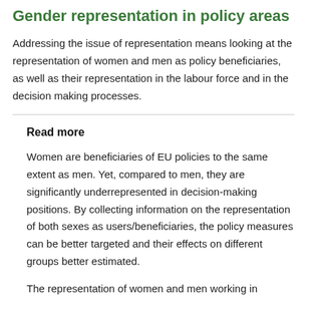Gender representation in policy areas
Addressing the issue of representation means looking at the representation of women and men as policy beneficiaries, as well as their representation in the labour force and in the decision making processes.
Read more
Women are beneficiaries of EU policies to the same extent as men. Yet, compared to men, they are significantly underrepresented in decision-making positions. By collecting information on the representation of both sexes as users/beneficiaries, the policy measures can be better targeted and their effects on different groups better estimated.
The representation of women and men working in